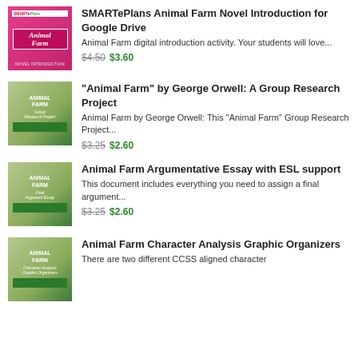[Figure (illustration): Animal Farm Novel Introduction product thumbnail - pink/magenta background with laptop and Animal Farm branding]
SMARTePlans Animal Farm Novel Introduction for Google Drive
Animal Farm digital introduction activity. Your students will love...
$4.50 $3.60
[Figure (illustration): Animal Farm Group Research Project product thumbnail - green background with pig illustration]
"Animal Farm" by George Orwell: A Group Research Project
Animal Farm by George Orwell: This "Animal Farm" Group Research Project...
$3.25 $2.60
[Figure (illustration): Animal Farm Final Argument Essay product thumbnail - green background with pig illustration]
Animal Farm Argumentative Essay with ESL support
This document includes everything you need to assign a final argument...
$3.25 $2.60
[Figure (illustration): Animal Farm Character Analysis Graphic Organizers product thumbnail - green background with pig illustration]
Animal Farm Character Analysis Graphic Organizers
There are two different CCSS aligned character analysis...